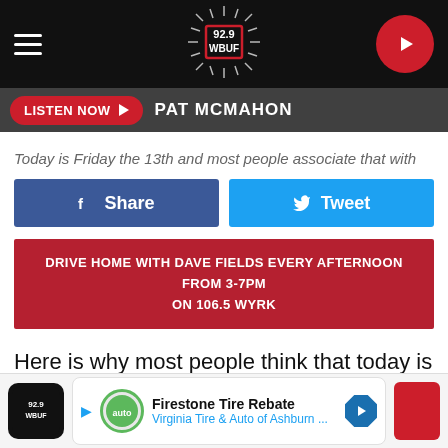92.9 WBUF
LISTEN NOW  PAT MCMAHON
Today is Friday the 13th and most people associate that with
Share  Tweet
DRIVE HOME WITH DAVE FIELDS EVERY AFTERNOON FROM 3-7PM ON 106.5 WYRK
Here is why most people think that today is considered a bad luck day. It all has to do with the number 13.
Firestone Tire Rebate Virginia Tire & Auto of Ashburn ...